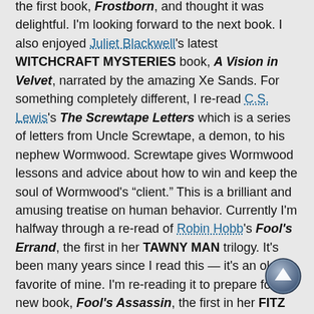the first book, Frostborn, and thought it was delightful. I'm looking forward to the next book. I also enjoyed Juliet Blackwell's latest WITCHCRAFT MYSTERIES book, A Vision in Velvet, narrated by the amazing Xe Sands. For something completely different, I re-read C.S. Lewis's The Screwtape Letters which is a series of letters from Uncle Screwtape, a demon, to his nephew Wormwood. Screwtape gives Wormwood lessons and advice about how to win and keep the soul of Wormwood's "client." This is a brilliant and amusing treatise on human behavior. Currently I'm halfway through a re-read of Robin Hobb's Fool's Errand, the first in her TAWNY MAN trilogy. It's been many years since I read this — it's an old favorite of mine. I'm re-reading it to prepare for her new book, Fool's Assassin, the first in her FITZ AND THE FOOL trilogy. I'm excited about this new chapter in Fitz's life! (Especially since I know that Bill loved it!)